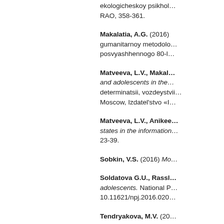ekologicheskoy psikhol... RAO, 358-361.
Makalatia, A.G. (2016) gumanitarnoy metodolo... posvyashhennogo 80-l...
Matveeva, L.V., Makal... and adolescents in the... determinatsii, vozdeystvii... Moscow, Izdatel'stvo «I...
Matveeva, L.V., Anikee... states in the information... 23-39.
Sobkin, V.S. (2016) Mo...
Soldatova G.U., Rassl... adolescents. National P... 10.11621/npj.2016.020...
Tendryakova, M.V. (20... [Kul'turno-istoricheskay...